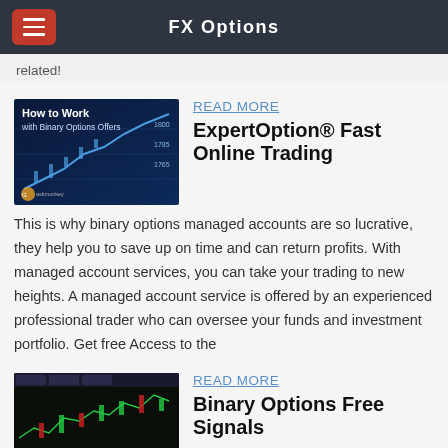FX Options
related!
[Figure (screenshot): Thumbnail image with text 'How to Work with Binary Options Offers' over a blue financial chart background]
READ MORE
ExpertOption® Fast Online Trading
This is why binary options managed accounts are so lucrative, they help you to save up on time and can return profits. With managed account services, you can take your trading to new heights. A managed account service is offered by an experienced professional trader who can oversee your funds and investment portfolio. Get free Access to the
[Figure (screenshot): Thumbnail image of a dark trading platform interface with green and red candlestick charts]
READ MORE
Binary Options Free Signals